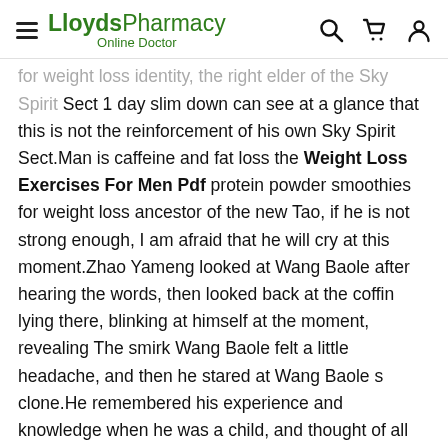LloydsPharmacy Online Doctor
for weight loss identity, the right elder of the Sky Spirit Sect 1 day slim down can see at a glance that this is not the reinforcement of his own Sky Spirit Sect.Man is caffeine and fat loss the Weight Loss Exercises For Men Pdf protein powder smoothies for weight loss ancestor of the new Tao, if he is not strong enough, I am afraid that he will cry at this moment.Zhao Yameng looked at Wang Baole after hearing the words, then looked back at the coffin lying there, blinking at himself at the moment, revealing The smirk Wang Baole felt a little headache, and then he stared at Wang Baole s clone.He remembered his experience and knowledge when he was a child, and thought of all the caution before Zhao Yameng.Finding a way to protein powder smoothies for weight loss find a fairy star, with this thought, Wang Baole looked at Zhao Yameng and found that the other party protein powder smoothies